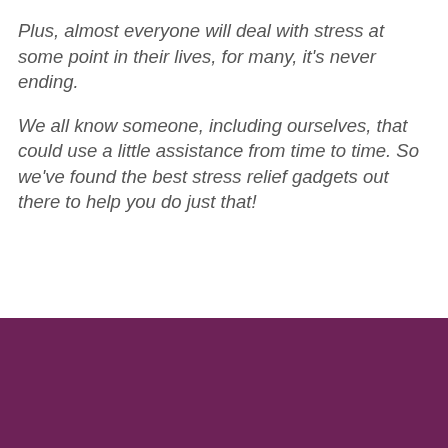Plus, almost everyone will deal with stress at some point in their lives, for many, it's never ending.
We all know someone, including ourselves, that could use a little assistance from time to time. So we've found the best stress relief gadgets out there to help you do just that!
[Figure (photo): Purple/dark magenta colored background area, partially visible at the bottom of the page.]